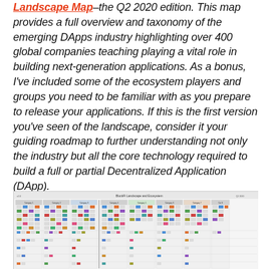Landscape Map–the Q2 2020 edition. This map provides a full overview and taxonomy of the emerging DApps industry highlighting over 400 global companies teaching playing a vital role in building next-generation applications. As a bonus, I've included some of the ecosystem players and groups you need to be familiar with as you prepare to release your applications. If this is the first version you've seen of the landscape, consider it your guiding roadmap to further understanding not only the industry but all the core technology required to build a full or partial Decentralized Application (DApp).
[Figure (other): BlockFi Landscape and Ecosystem – a large grid-based landscape map thumbnail showing hundreds of company logos organized into categories and subcategories for the DApps ecosystem.]